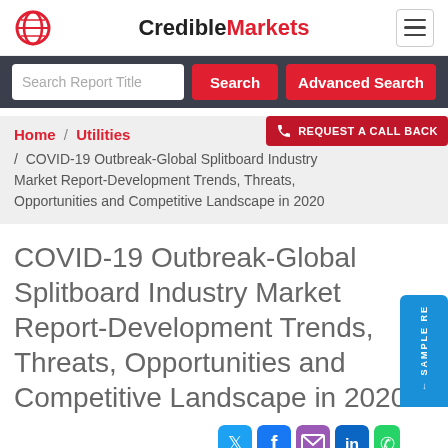CredibleMarkets
Search Report Title | Search | Advanced Search
Home / Utilities / COVID-19 Outbreak-Global Splitboard Industry Market Report-Development Trends, Threats, Opportunities and Competitive Landscape in 2020 | REQUEST A CALL BACK
COVID-19 Outbreak-Global Splitboard Industry Market Report-Development Trends, Threats, Opportunities and Competitive Landscape in 2020